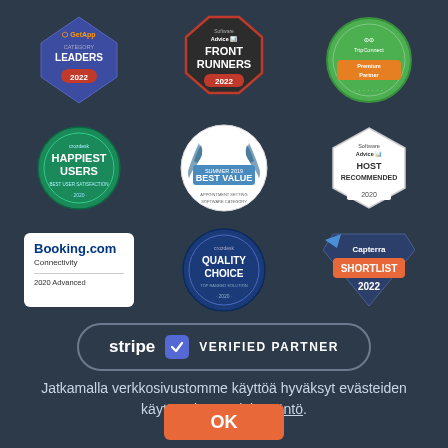[Figure (logo): GetApp Category Leaders 2022 diamond badge]
[Figure (logo): Software Advice Front Runners 2022 badge]
[Figure (logo): TripConnect Premium Partner badge]
[Figure (logo): Capterra Happiest Users 2020 green circle badge]
[Figure (logo): Summer 2019 Best Value award circle badge]
[Figure (logo): Software Advice Host Recommended 2020 hexagon badge]
[Figure (logo): Booking.com Connectivity 2020 Advanced white box]
[Figure (logo): Crozdesk Quality Choice 2020 blue circle badge]
[Figure (logo): Capterra Shortlist 2022 badge]
[Figure (logo): Stripe Verified Partner banner]
Jatkamalla verkkosivustomme käyttöä hyväksyt evästeiden käytön Tietosuojakäytäntö.
OK